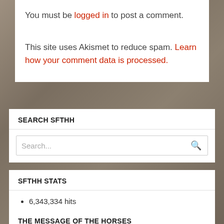You must be logged in to post a comment.
This site uses Akismet to reduce spam. Learn how your comment data is processed.
SEARCH SFTHH
Search...
SFTHH STATS
6,343,334 hits
THE MESSAGE OF THE HORSES